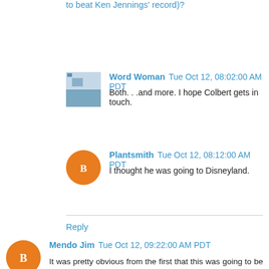to beat Ken Jennings' record)?
Word Woman  Tue Oct 12, 08:02:00 AM PDT
Both. . .and more. I hope Colbert gets in touch.
Plantsmith  Tue Oct 12, 08:12:00 AM PDT
I thought he was going to Disneyland.
Reply
Mendo Jim  Tue Oct 12, 09:22:00 AM PDT
It was pretty obvious from the first that this was going to be Matt's swan song.
He seemed almost ill, maybe made so by the producer's (remember him?) decision that ratings would be better without him. Maybe we cab still be...